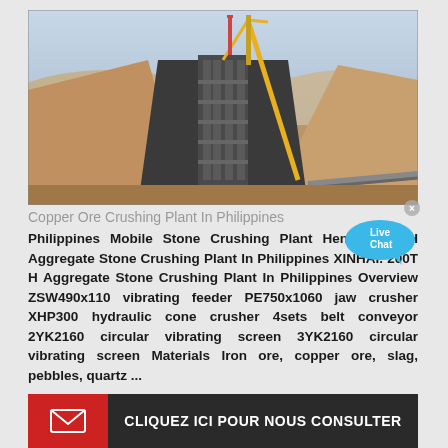[Figure (photo): Construction site showing a large copper ore crushing plant in the Philippines with stockpiles of ore, a large screening tower, conveyor equipment, and a crane in the background]
Copper Ore Crushing Plant In Philippines
Philippines Mobile Stone Crushing Plant Henan. 200TH Aggregate Stone Crushing Plant In Philippines XINHAI. 200T H Aggregate Stone Crushing Plant In Philippines Overview ZSW490x110 vibrating feeder PE750x1060 jaw crusher XHP300 hydraulic cone crusher 4sets belt conveyor 2YK2160 circular vibrating screen 3YK2160 circular vibrating screen Materials Iron ore, copper ore, slag, pebbles, quartz ...
CLIQUEZ ICI POUR NOUS CONSULTER